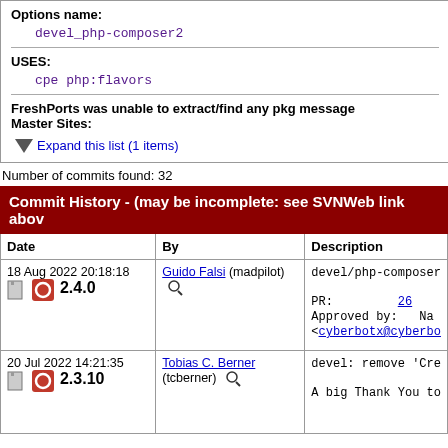Options name:
devel_php-composer2
USES:
cpe php:flavors
FreshPorts was unable to extract/find any pkg message
Master Sites:
Expand this list (1 items)
Number of commits found: 32
| Commit History - (may be incomplete: see SVNWeb link abov… |
| --- |
| Date | By | Description |
| 18 Aug 2022 20:18:18
2.4.0 | Guido Falsi (madpilot) | devel/php-composer…
PR: 26…
Approved by: Na…
<cyberbotx@cyberbo… |
| 20 Jul 2022 14:21:35
2.3.10 | Tobias C. Berner (tcberner) | devel: remove 'Cre…
A big Thank You to… |